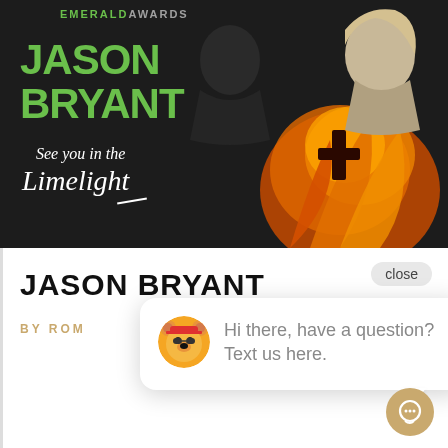[Figure (illustration): Book cover for 'See you in the Limelight' by Jason Bryant with Emerald Awards branding. Dark background with green bold author name, cursive script title text, and a dramatic noir-style illustration of figures with flames on the right side.]
JASON BRYANT
BY ROM
close
Hi there, have a question? Text us here.